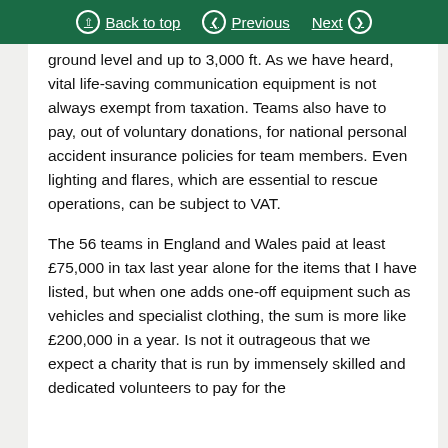Back to top | Previous | Next
ground level and up to 3,000 ft. As we have heard, vital life-saving communication equipment is not always exempt from taxation. Teams also have to pay, out of voluntary donations, for national personal accident insurance policies for team members. Even lighting and flares, which are essential to rescue operations, can be subject to VAT.
The 56 teams in England and Wales paid at least £75,000 in tax last year alone for the items that I have listed, but when one adds one-off equipment such as vehicles and specialist clothing, the sum is more like £200,000 in a year. Is not it outrageous that we expect a charity that is run by immensely skilled and dedicated volunteers to pay for the